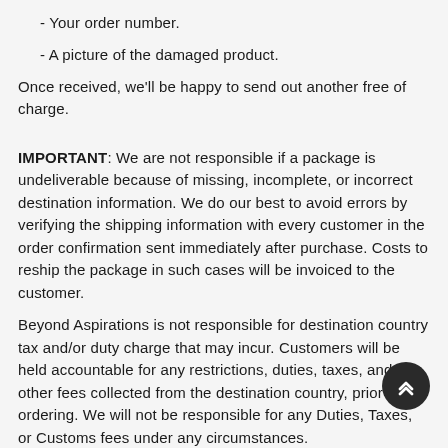- Your order number.
- A picture of the damaged product.
Once received, we'll be happy to send out another free of charge.
IMPORTANT: We are not responsible if a package is undeliverable because of missing, incomplete, or incorrect destination information. We do our best to avoid errors by verifying the shipping information with every customer in the order confirmation sent immediately after purchase. Costs to reship the package in such cases will be invoiced to the customer.
Beyond Aspirations is not responsible for destination country tax and/or duty charge that may incur. Customers will be held accountable for any restrictions, duties, taxes, and any other fees collected from the destination country, prior to ordering. We will not be responsible for any Duties, Taxes, or Customs fees under any circumstances.
If the order arrives at your country and...
The customer refuses to accept the package...